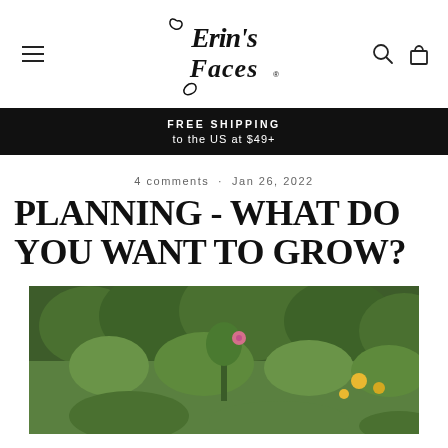Erin's Faces
FREE SHIPPING to the US at $49+
4 comments · Jan 26, 2022
PLANNING - WHAT DO YOU WANT TO GROW?
[Figure (photo): A lush garden scene with green foliage, flowers including pink zinnias and yellow black-eyed susans, and trees in the background.]